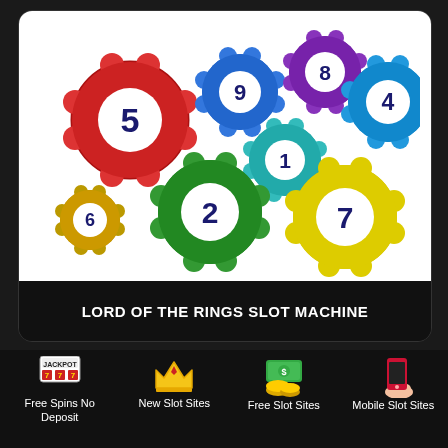[Figure (illustration): Colorful numbered bingo/lottery balls scattered on white background. Balls numbered 5 (red), 9 (blue), 8 (purple), 4 (blue), 6 (gold), 2 (green), 1 (teal), 7 (yellow) visible.]
LORD OF THE RINGS SLOT MACHINE
[Figure (illustration): Dark red banner with dramatic light rays and the word LOST in large red metallic letters with a silhouette figure]
Free Spins No Deposit
New Slot Sites
Free Slot Sites
Mobile Slot Sites